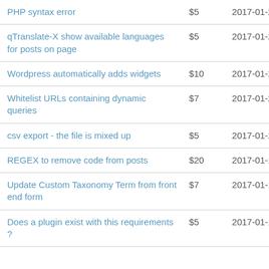| PHP syntax error | $5 | 2017-01-28 |
| qTranslate-X show available languages for posts on page | $5 | 2017-01-27 |
| Wordpress automatically adds widgets | $10 | 2017-01-27 |
| Whitelist URLs containing dynamic queries | $7 | 2017-01-24 |
| csv export - the file is mixed up | $5 | 2017-01-23 |
| REGEX to remove code from posts | $20 | 2017-01-19 |
| Update Custom Taxonomy Term from front end form | $7 | 2017-01-13 |
| Does a plugin exist with this requirements ? | $5 | 2017-01-13 |